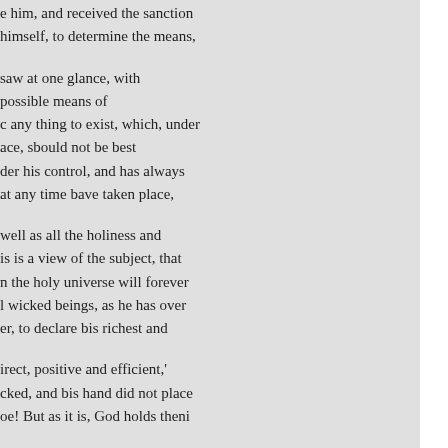e him, and received the sanction
himself, to determine the means,
saw at one glance, with
possible means of
c any thing to exist, which, under
ace, sbould not be best
der his control, and has always
at any time bave taken place,
well as all the holiness and
is is a view of the subject, that
n the holy universe will forever
l wicked beings, as he has over
er, to declare bis richest and
irect, positive and efficient,'
cked, and bis hand did not place
oe! But as it is, God holds theni
hat maketh all things; that
f; that frustrateth the tokens of